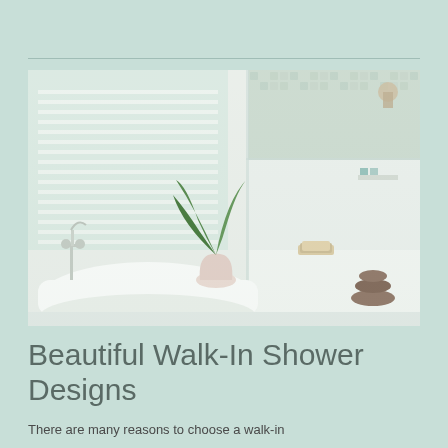[Figure (photo): A bright, modern bathroom featuring a freestanding white bathtub with chrome faucets on the left, a large tropical plant in a white vase, and a glass-enclosed walk-in shower on the right with mosaic tile accents and stacked stone decorations. White plantation shutters are visible in the background.]
Beautiful Walk-In Shower Designs
There are many reasons to choose a walk-in